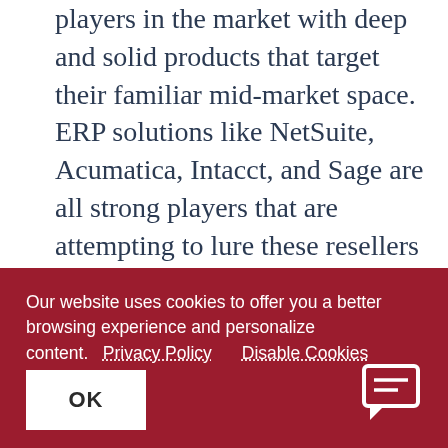players in the market with deep and solid products that target their familiar mid-market space.  ERP solutions like NetSuite, Acumatica, Intacct, and Sage are all strong players that are attempting to lure these resellers to take up their products.  All of these solutions come with their own good points and also their fair share of issues.  The Microsoft community has been selling against these tools for many years, which makes it
Our website uses cookies to offer you a better browsing experience and personalize content.   Privacy Policy   Disable Cookies
OK